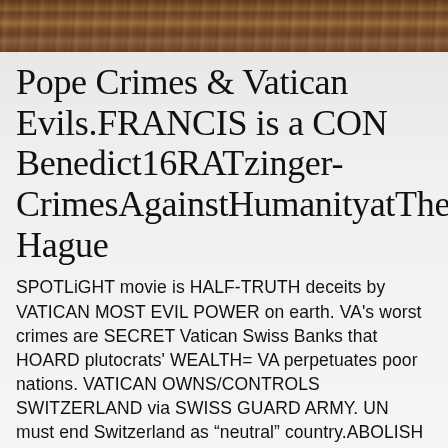[Figure (photo): Wood texture header image strip at the top of the page]
Pope Crimes & Vatican Evils.FRANCIS is a CON Benedict16RATzinger-CrimesAgainstHumanityatThe Hague
SPOTLiGHT movie is HALF-TRUTH deceits by VATICAN MOST EVIL POWER on earth. VA's worst crimes are SECRET Vatican Swiss Banks that HOARD plutocrats' WEALTH= VA perpetuates poor nations. VATICAN OWNS/CONTROLS SWITZERLAND via SWISS GUARD ARMY. UN must end Switzerland as “neutral” country.ABOLISH ALL VATICAN CONCORDATS. UNITED NATIONS must END VATICAN as a“COUNTRY”. POPES+PRIESTS have NO WOMBS = CANNOT